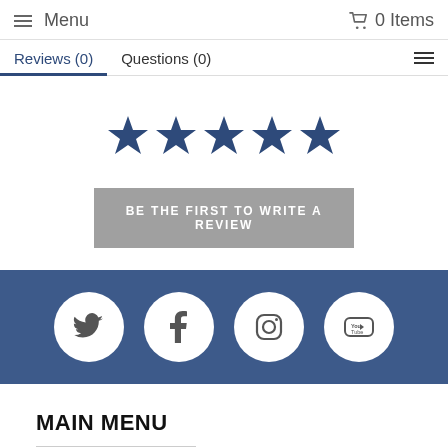Menu  0 Items
Reviews (0)   Questions (0)
[Figure (illustration): Five dark navy blue star rating icons arranged horizontally]
BE THE FIRST TO WRITE A REVIEW
[Figure (illustration): Social media icon bar with Twitter, Facebook, Instagram, and YouTube circular icons on a dark blue background]
MAIN MENU